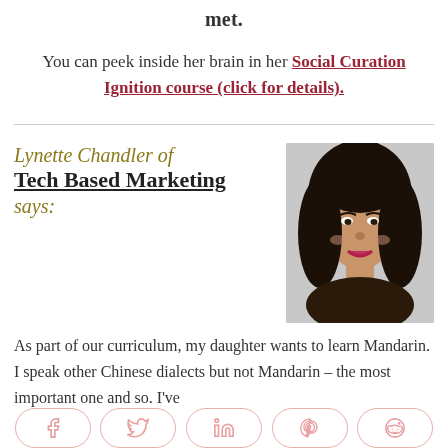met.
You can peek inside her brain in her Social Curation Ignition course (click for details).
Lynette Chandler of Tech Based Marketing says:
[Figure (photo): Headshot of Lynette Chandler, a woman with dark hair, smiling, wearing dark clothing with red lipstick.]
As part of our curriculum, my daughter wants to learn Mandarin. I speak other Chinese dialects but not Mandarin – the most important one and so. I've
Social share buttons: Facebook, Twitter, LinkedIn, Pinterest, Reddit